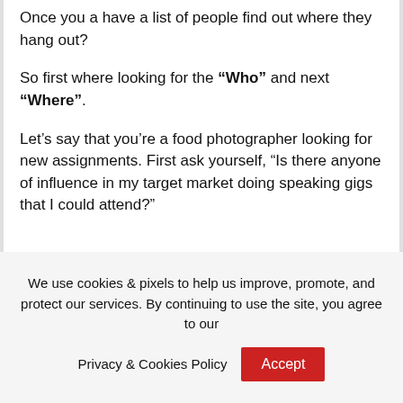Once you a have a list of people find out where they hang out?
So first where looking for the “Who” and next “Where”.
Let’s say that you’re a food photographer looking for new assignments. First ask yourself, “Is there anyone of influence in my target market doing speaking gigs that I could attend?”
We use cookies & pixels to help us improve, promote, and protect our services. By continuing to use the site, you agree to our
Privacy & Cookies Policy
Accept